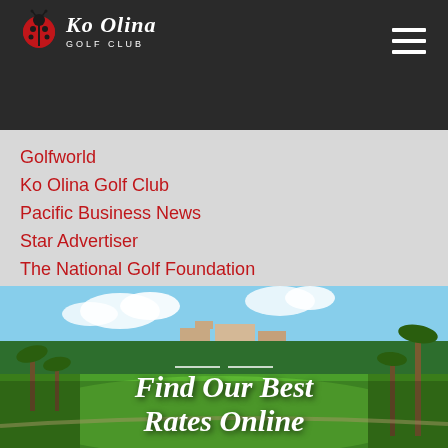Ko Olina Golf Club
Golfworld
Ko Olina Golf Club
Pacific Business News
Star Advertiser
The National Golf Foundation
[Figure (photo): Panoramic view of Ko Olina Golf Club course with lush green fairways, palm trees, resort buildings, and ocean in background. Overlay text reads 'Find Our Best Rates Online']